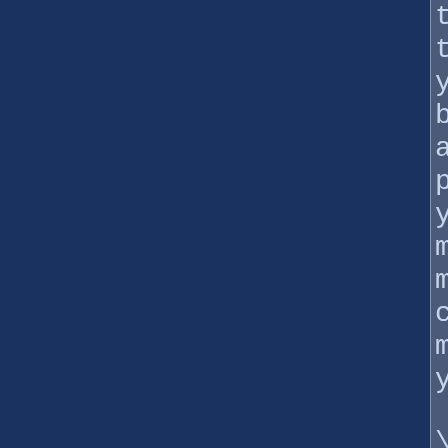tutorial, teaching you the basics, and progressing you to more and more complicated moves as you play.

"I'd guess that (a beginning player) will take about 15 hours to get through the story," Aaron said,